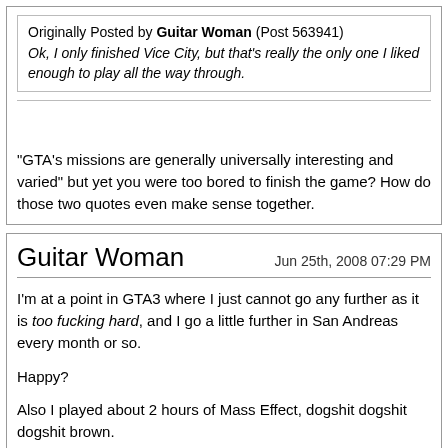Originally Posted by Guitar Woman (Post 563941)
Ok, I only finished Vice City, but that's really the only one I liked enough to play all the way through.
"GTA's missions are generally universally interesting and varied" but yet you were too bored to finish the game? How do those two quotes even make sense together.
Guitar Woman
Jun 25th, 2008 07:29 PM
I'm at a point in GTA3 where I just cannot go any further as it is too fucking hard, and I go a little further in San Andreas every month or so.
Happy?
Also I played about 2 hours of Mass Effect, dogshit dogshit dogshit brown.
It might have been my cancerous friend's tampering in the visual options, he did that to GTA 4 too.
I do like Mass Effect's acting and story a lot, and the conversation tree gave me a nice sense of freedom in relation to how everything unfolded. I might consider pirating it some time in the future and playing to a point where everything is a happy rainbow of bright